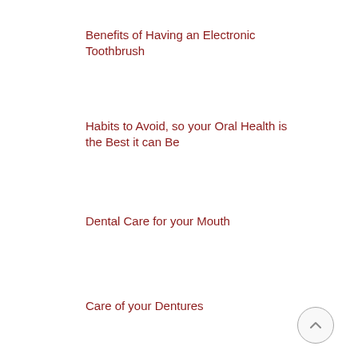Benefits of Having an Electronic Toothbrush
Habits to Avoid, so your Oral Health is the Best it can Be
Dental Care for your Mouth
Care of your Dentures